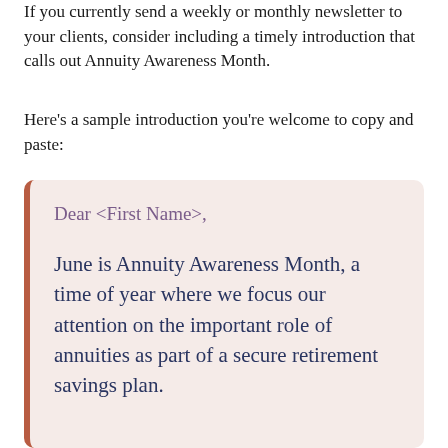If you currently send a weekly or monthly newsletter to your clients, consider including a timely introduction that calls out Annuity Awareness Month.
Here's a sample introduction you're welcome to copy and paste:
Dear <First Name>,

June is Annuity Awareness Month, a time of year where we focus our attention on the important role of annuities as part of a secure retirement savings plan.